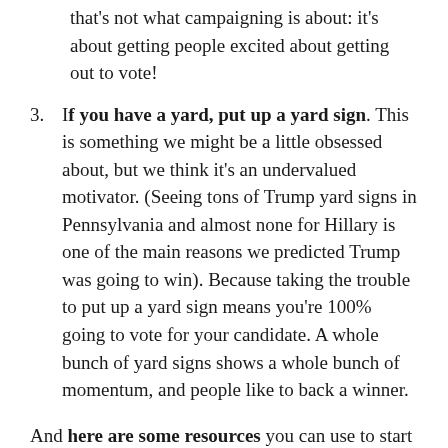that's not what campaigning is about: it's about getting people excited about getting out to vote!
If you have a yard, put up a yard sign. This is something we might be a little obsessed about, but we think it's an undervalued motivator. (Seeing tons of Trump yard signs in Pennsylvania and almost none for Hillary is one of the main reasons we predicted Trump was going to win). Because taking the trouble to put up a yard sign means you're 100% going to vote for your candidate. A whole bunch of yard signs shows a whole bunch of momentum, and people like to back a winner.
And here are some resources you can use to start finding people and causes to support: